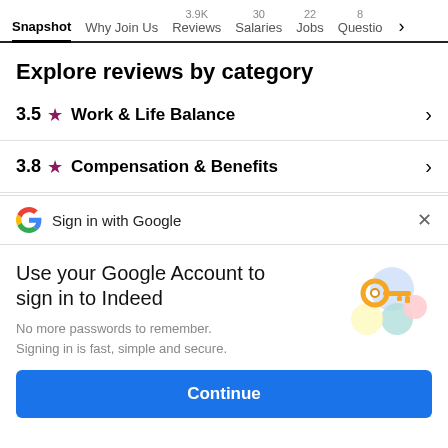Snapshot | Why Join Us | 3.9K Reviews | 30 Salaries | 22 Jobs | 8 Questions
Explore reviews by category
3.5 ★ Work & Life Balance
3.8 ★ Compensation & Benefits
Sign in with Google
Use your Google Account to sign in to Indeed
No more passwords to remember. Signing in is fast, simple and secure.
Continue